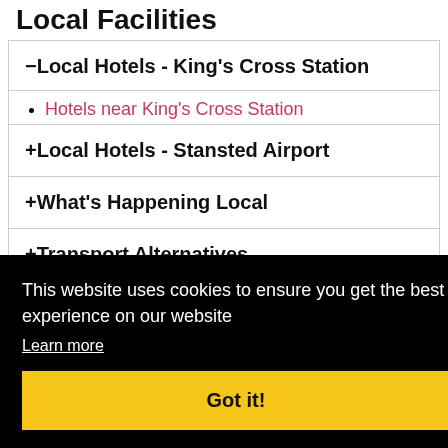Local Facilities
–Local Hotels - King's Cross Station
Hotels near King's Cross Station
+Local Hotels - Stansted Airport
+What's Happening Local
+Transport Alternatives
[Figure (map): Road map showing area around Halstead, Witham, Braintree with road A10 visible]
This website uses cookies to ensure you get the best experience on our website
Learn more
Got it!